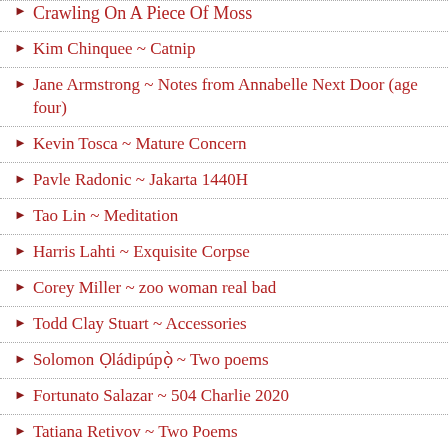Crawling On A Piece Of Moss
Kim Chinquee ~ Catnip
Jane Armstrong ~ Notes from Annabelle Next Door (age four)
Kevin Tosca ~ Mature Concern
Pavle Radonic ~ Jakarta 1440H
Tao Lin ~ Meditation
Harris Lahti ~ Exquisite Corpse
Corey Miller ~ zoo woman real bad
Todd Clay Stuart ~ Accessories
Solomon Ọládipúpọ̀ ~ Two poems
Fortunato Salazar ~ 504 Charlie 2020
Tatiana Retivov ~ Two Poems
Ross McMeekin ~ The Face of God